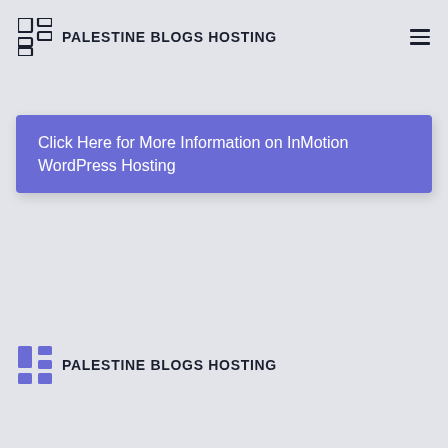PALESTINE BLOGS HOSTING
Click Here for More Information on InMotion WordPress Hosting
PALESTINE BLOGS HOSTING